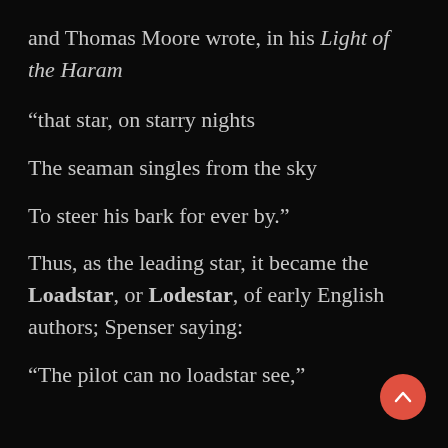and Thomas Moore wrote, in his Light of the Haram
“that star, on starry nights
The seaman singles from the sky
To steer his bark for ever by.”
Thus, as the leading star, it became the Loadstar, or Lodestar, of early English authors; Spenser saying:
“The pilot can no loadstar see,”